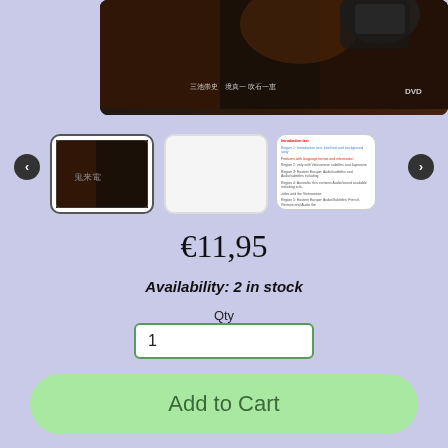[Figure (photo): Main DVD product image showing a dark scene with Chinese text and DVD logo at the bottom]
[Figure (photo): Thumbnail gallery with navigation arrows: a DVD cover thumbnail (active/selected), a blank white thumbnail, and a text/description thumbnail]
€11,95
Availability: 2 in stock
Qty
1
Add to Cart